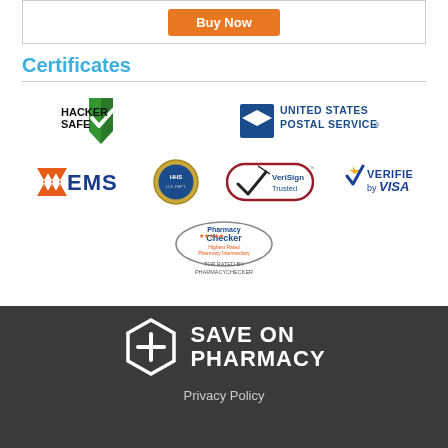[Figure (other): Buy Now orange button inside a bordered box]
Certificates
[Figure (logo): HackerSafe logo with green shield checkmark]
[Figure (logo): United States Postal Service logo]
[Figure (logo): EMS shipping logo with orange chevrons]
[Figure (logo): HHS (US Department of Health and Human Services) seal]
[Figure (logo): VeriSign Trusted checkmark logo]
[Figure (logo): Verified by VISA logo]
[Figure (logo): PharmacyChecker Top Rated badge]
[Figure (logo): Save On Pharmacy logo in white on dark footer]
Privacy Policy